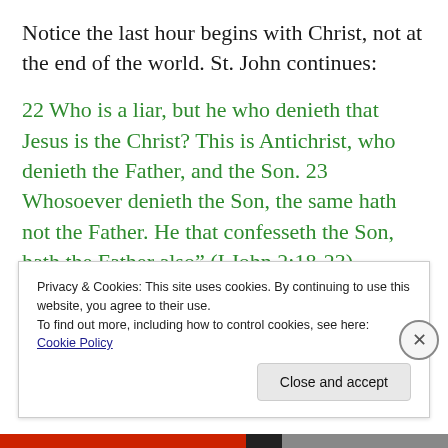Notice the last hour begins with Christ, not at the end of the world. St. John continues:
22 Who is a liar, but he who denieth that Jesus is the Christ? This is Antichrist, who denieth the Father, and the Son. 23 Whosoever denieth the Son, the same hath not the Father. He that confesseth the Son, hath the Father also” (I John 2:18-23)
Privacy & Cookies: This site uses cookies. By continuing to use this website, you agree to their use. To find out more, including how to control cookies, see here: Cookie Policy
Close and accept